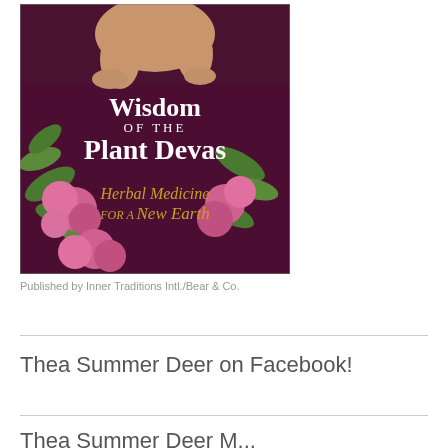[Figure (illustration): Book cover for 'Wisdom of the Plant Devas: Herbal Medicine for a New Earth'. Dark purple/maroon background with pink clover flowers and green leaves. A child's hands and feet are visible at the top. White text reads 'Wisdom of the Plant Devas' and gold/yellow text reads 'Herbal Medicine for a New Earth'.]
Published by Inner Traditions Intl./Bear & Co.
Thea Summer Deer on Facebook!
Thea Summer Deer M...